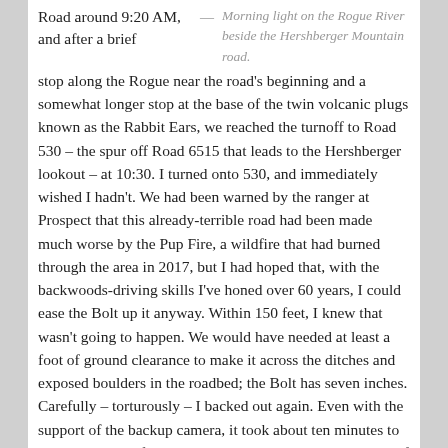Road around 9:20 AM, and after a brief
— Morning light on the Rogue River beside the Hershberger Mountain road.
stop along the Rogue near the road's beginning and a somewhat longer stop at the base of the twin volcanic plugs known as the Rabbit Ears, we reached the turnoff to Road 530 – the spur off Road 6515 that leads to the Hershberger lookout – at 10:30. I turned onto 530, and immediately wished I hadn't. We had been warned by the ranger at Prospect that this already-terrible road had been made much worse by the Pup Fire, a wildfire that had burned through the area in 2017, but I had hoped that, with the backwoods-driving skills I've honed over 60 years, I could ease the Bolt up it anyway. Within 150 feet, I knew that wasn't going to happen. We would have needed at least a foot of ground clearance to make it across the ditches and exposed boulders in the roadbed; the Bolt has seven inches. Carefully – torturously – I backed out again. Even with the support of the backup camera, it took about ten minutes to cover those 150 feet backwards. I parked on the shoulder of 6515, on the edge